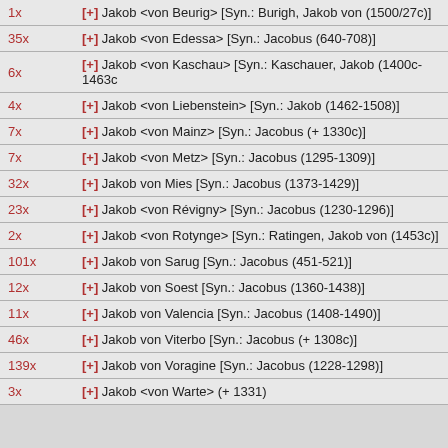| Count | Entry |
| --- | --- |
| 1x | [+] Jakob <von Beurig> [Syn.: Burigh, Jakob von (1500/27c)] |
| 35x | [+] Jakob <von Edessa> [Syn.: Jacobus (640-708)] |
| 6x | [+] Jakob <von Kaschau> [Syn.: Kaschauer, Jakob (1400c-1463c] |
| 4x | [+] Jakob <von Liebenstein> [Syn.: Jakob (1462-1508)] |
| 7x | [+] Jakob <von Mainz> [Syn.: Jacobus (+ 1330c)] |
| 7x | [+] Jakob <von Metz> [Syn.: Jacobus (1295-1309)] |
| 32x | [+] Jakob von Mies [Syn.: Jacobus (1373-1429)] |
| 23x | [+] Jakob <von Révigny> [Syn.: Jacobus (1230-1296)] |
| 2x | [+] Jakob <von Rotynge> [Syn.: Ratingen, Jakob von (1453c)] |
| 101x | [+] Jakob von Sarug [Syn.: Jacobus (451-521)] |
| 12x | [+] Jakob von Soest [Syn.: Jacobus (1360-1438)] |
| 11x | [+] Jakob von Valencia [Syn.: Jacobus (1408-1490)] |
| 46x | [+] Jakob von Viterbo [Syn.: Jacobus (+ 1308c)] |
| 139x | [+] Jakob von Voragine [Syn.: Jacobus (1228-1298)] |
| 3x | [+] Jakob <von Warte> (+ 1331) |